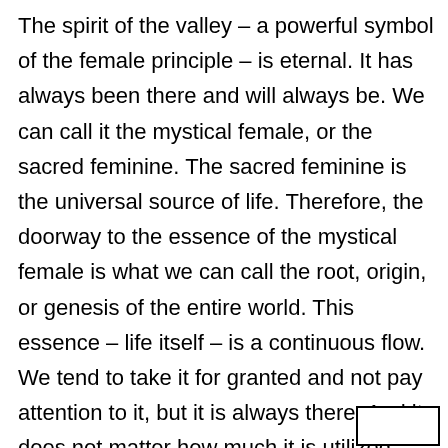The spirit of the valley – a powerful symbol of the female principle – is eternal. It has always been there and will always be. We can call it the mystical female, or the sacred feminine. The sacred feminine is the universal source of life. Therefore, the doorway to the essence of the mystical female is what we can call the root, origin, or genesis of the entire world. This essence – life itself – is a continuous flow. We tend to take it for granted and not pay attention to it, but it is always there. And it does not matter how much it is utilized – the power of life is literally inexhaustible.